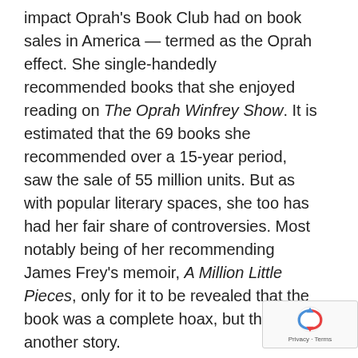impact Oprah's Book Club had on book sales in America — termed as the Oprah effect. She single-handedly recommended books that she enjoyed reading on The Oprah Winfrey Show. It is estimated that the 69 books she recommended over a 15-year period, saw the sale of 55 million units. But as with popular literary spaces, she too has had her fair share of controversies. Most notably being of her recommending James Frey's memoir, A Million Little Pieces, only for it to be revealed that the book was a complete hoax, but that is another story.
Literary festivals are spaces to have a great time — good conversation, plenty of ideas swirling about, good company, especially if accompanied by good weather, food and